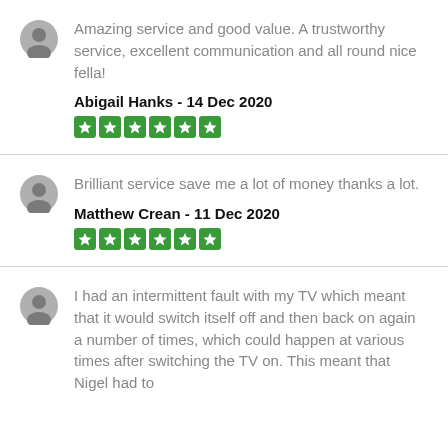Amazing service and good value. A trustworthy service, excellent communication and all round nice fella!
Abigail Hanks - 14 Dec 2020
[Figure (other): Five green star rating icons]
Brilliant service save me a lot of money thanks a lot.
Matthew Crean - 11 Dec 2020
[Figure (other): Five green star rating icons]
I had an intermittent fault with my TV which meant that it would switch itself off and then back on again a number of times, which could happen at various times after switching the TV on. This meant that Nigel had to